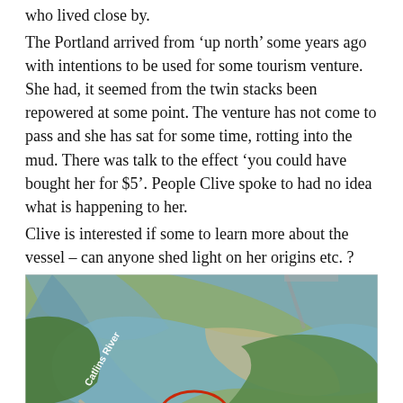who lived close by.
The Portland arrived from ‘up north’ some years ago with intentions to be used for some tourism venture. She had, it seemed from the twin stacks been repowered at some point. The venture has not come to pass and she has sat for some time, rotting into the mud. There was talk to the effect ‘you could have bought her for $5’. People Clive spoke to had no idea what is happening to her.
Clive is interested if some to learn more about the vessel – can anyone shed light on her origins etc. ?
[Figure (map): Aerial satellite map image showing the Catlins River area with a red oval circle marking a location along the river bank. The label 'Catlins River' appears in white text on the left side, and 'River' appears in white text on the lower right.]